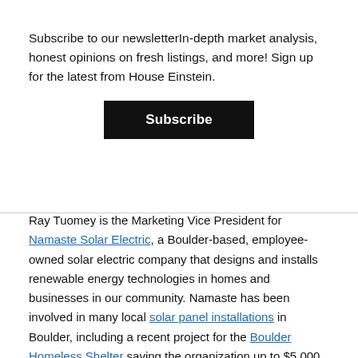Subscribe to our newsletterIn-depth market analysis, honest opinions on fresh listings, and more! Sign up for the latest from House Einstein.
Subscribe
Ray Tuomey is the Marketing Vice President for Namaste Solar Electric, a Boulder-based, employee-owned solar electric company that designs and installs renewable energy technologies in homes and businesses in our community. Namaste has been involved in many local solar panel installations in Boulder, including a recent project for the Boulder Homeless Shelter saving the organization up to $5,000 a year on its electric bill.
We asked Ray for an update on the state of solar technology in Colorado, and he did us one better. Here's a recent article written by company President Blake Jones